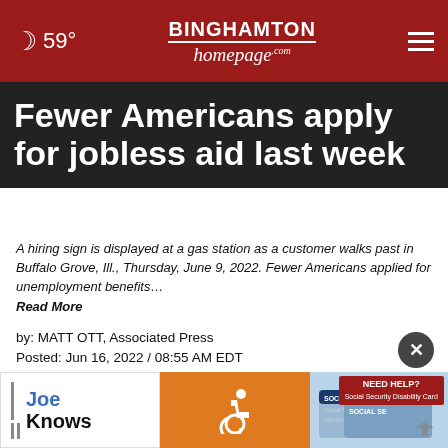☽ 59° | BINGHAMTON homepage.com | ≡
Fewer Americans apply for jobless aid last week
A hiring sign is displayed at a gas station as a customer walks past in Buffalo Grove, Ill., Thursday, June 9, 2022. Fewer Americans applied for unemployment benefits… Read More
by: MATT OTT, Associated Press
Posted: Jun 16, 2022 / 08:55 AM EDT
Updated: Jun 16, 2022 / 09:16 AM EDT
SHARE
WASHINGTON — Fewer Americans applied for unemployment benefits last week as the U.S. job
[Figure (infographic): Advertisement banner showing Joe Knows branding, disability icon on orange background, and Social Security card image with NEED HELP? button]